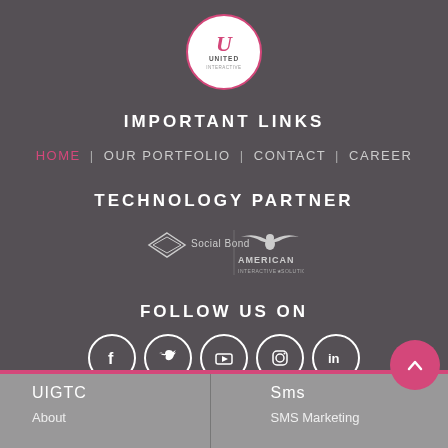[Figure (logo): United Interactive circular logo with pink border, stylized U in pink and 'UNITED INTERACTIVE' text]
IMPORTANT LINKS
HOME | OUR PORTFOLIO | CONTACT | CAREER
TECHNOLOGY PARTNER
[Figure (logo): Social Bond diamond logo and American Interactive Solutions eagle wings logo]
FOLLOW US ON
[Figure (infographic): Five social media icons in white circles: Facebook, Twitter, YouTube, Instagram, LinkedIn]
UIGTC
Sms
About
SMS Marketing